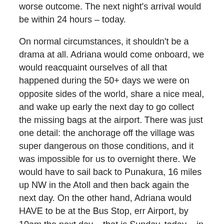worse outcome. The next night's arrival would be within 24 hours – today.
On normal circumstances, it shouldn't be a drama at all. Adriana would come onboard, we would reacquaint ourselves of all that happened during the 50+ days we were on opposite sides of the world, share a nice meal, and wake up early the next day to go collect the missing bags at the airport. There was just one detail: the anchorage off the village was super dangerous on those conditions, and it was impossible for us to overnight there. We would have to sail back to Punakura, 16 miles up NW in the Atoll and then back again the next day. On the other hand, Adriana would HAVE to be at the Bus Stop, err Airport, by 10am the next day – that is Sunday, today – in order to receive the bags, should they come on this flight.
Poor Adriana had not even entered her home's cabin yet when we made the uncomfortable decision that she would have to stay at the village for the night, whereas I took Pesto back to safety (weather is so fickle here that we couldn't guarantee that we would be back the next day in time for her to be at the airport upon the airplane's arrival). It was agreed that Paulo would stay with her, while Raquel would come with me.
Ok, now we needed to get Adriana back on shore. And I couldn't leave